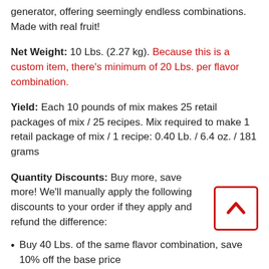generator, offering seemingly endless combinations. Made with real fruit!
Net Weight: 10 Lbs. (2.27 kg). Because this is a custom item, there's minimum of 20 Lbs. per flavor combination.
Yield: Each 10 pounds of mix makes 25 retail packages of mix / 25 recipes. Mix required to make 1 retail package of mix / 1 recipe: 0.40 Lb. / 6.4 oz. / 181 grams
Quantity Discounts: Buy more, save more! We'll manually apply the following discounts to your order if they apply and refund the difference:
Buy 40 Lbs. of the same flavor combination, save 10% off the base price